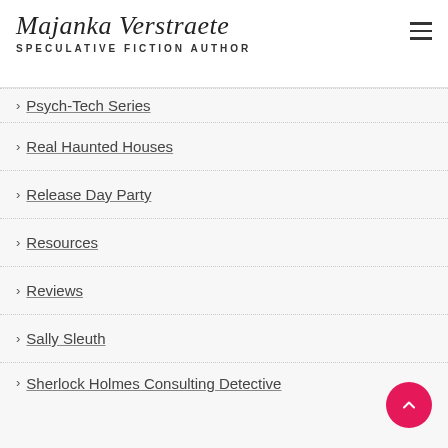Majanka Verstraete
SPECULATIVE FICTION AUTHOR
Psych-Tech Series
Real Haunted Houses
Release Day Party
Resources
Reviews
Sally Sleuth
Sherlock Holmes Consulting Detective